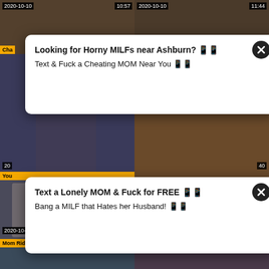[Figure (screenshot): Adult video thumbnail grid with two advertisement popups overlaid. Top row shows two video thumbnails dated 2020-10-10 with durations 10:57 and 11:44. Middle rows partially visible behind popups. Bottom section shows two main video thumbnails: 'Mom Rides her Step Son and Begs for' (2020-10-10, 5:24) and 'Threesome Sex Party In My Tight' (2020-10-10, 11:29). Two advertisement popups with close buttons: 'Looking for Horny MILFs near Ashburn? Text & Fuck a Cheating MOM Near You' and 'Text a Lonely MOM & Fuck for FREE - Bang a MILF that Hates her Husband!']